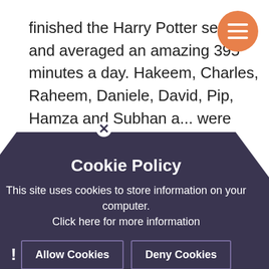finished the Harry Potter series and averaged an amazing 395 minutes a day. Hakeem, Charles, Raheem, Daniele, David, Pip, Hamza and Subhan all were perfect readers this week.

W/C 17/05/21 – We didn't reach our goal of 60 minutes engaged reading time a day but we still managed a very good 48 minutes a day as a class. Lavanette, David, Umair, Hamza, Subhan and Mohammed all read for over an hour a day this week. Fabi... 100 minutes and Raheem... good reading time Wi... Raheem were ... all their quizzes.
[Figure (other): Cookie policy popup overlay with dark purple pentagon/house shape containing title 'Cookie Policy', body text, Allow Cookies and Deny Cookies buttons, and a close X button]